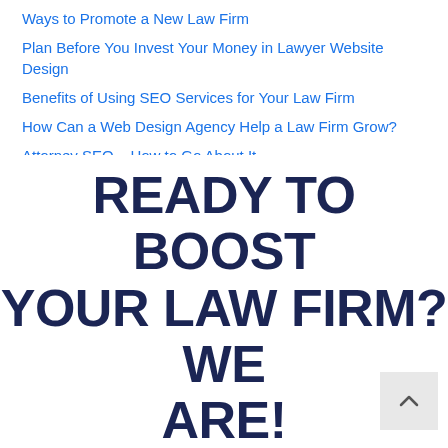Ways to Promote a New Law Firm
Plan Before You Invest Your Money in Lawyer Website Design
Benefits of Using SEO Services for Your Law Firm
How Can a Web Design Agency Help a Law Firm Grow?
Attorney SEO – How to Go About It
Recent Comments
READY TO BOOST YOUR LAW FIRM? WE ARE!